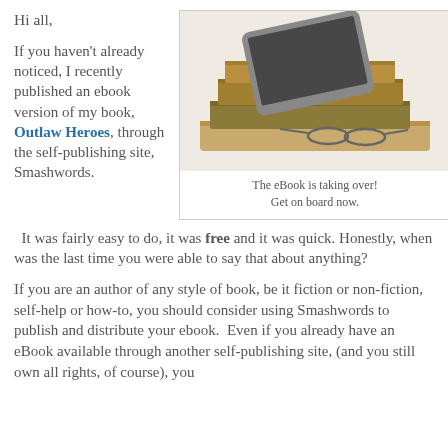Hi all,
If you haven't already noticed, I recently published an ebook version of my book, Outlaw Heroes, through the self-publishing site, Smashwords.  It was fairly easy to do, it was free and it was quick. Honestly, when was the last time you were able to say that about anything?
[Figure (photo): A stack of old books with a tablet/e-reader on top and a pair of glasses resting beside them on a wooden surface, against a white background.]
The eBook is taking over!
Get on board now.
If you are an author of any style of book, be it fiction or non-fiction, self-help or how-to, you should consider using Smashwords to publish and distribute your ebook.  Even if you already have an eBook available through another self-publishing site, (and you still own all rights, of course), you